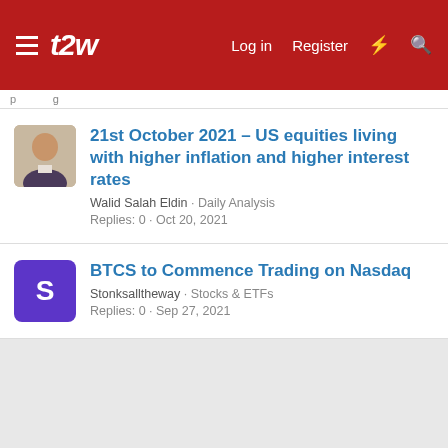t2w | Log in | Register
21st October 2021 – US equities living with higher inflation and higher interest rates
Walid Salah Eldin · Daily Analysis
Replies: 0 · Oct 20, 2021
BTCS to Commence Trading on Nasdaq
Stonksalltheway · Stocks & ETFs
Replies: 0 · Sep 27, 2021